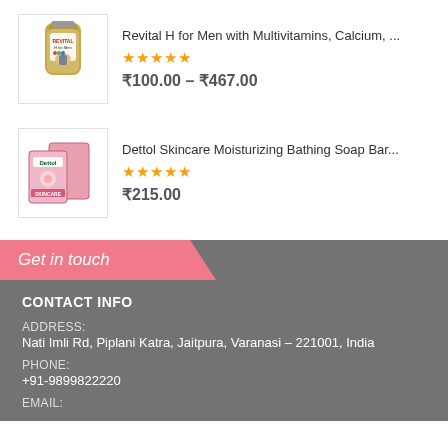[Figure (photo): Product image of Revital H for Men supplement bottle]
Revital H for Men with Multivitamins, Calcium, ...
★★★★★
₹100.00 – ₹467.00
[Figure (photo): Product image of Dettol Skincare Moisturizing Bathing Soap Bar boxes]
Dettol Skincare Moisturizing Bathing Soap Bar...
★★★★★
₹215.00
Get in touch
CONTACT INFO
ADDRESS:
Nati Imli Rd, Piplani Katra, Jaitpura, Varanasi – 221001, India
PHONE:
+91-9899822220
EMAIL: